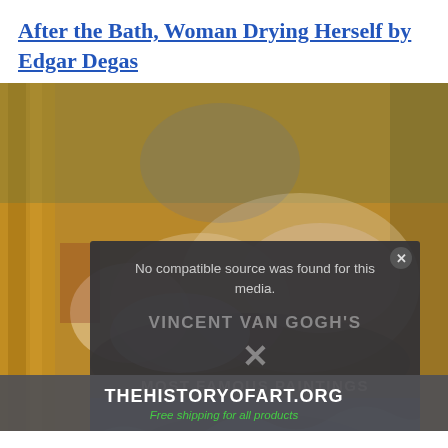After the Bath, Woman Drying Herself by Edgar Degas
[Figure (photo): Painting by Edgar Degas showing a woman drying herself after a bath, with warm ochre and golden tones. A video popup overlay appears with text 'No compatible source was found for this media.' and Vincent Van Gogh's Most Famous Paintings branding from thehistoryofart.org, with a free shipping promotional banner at bottom.]